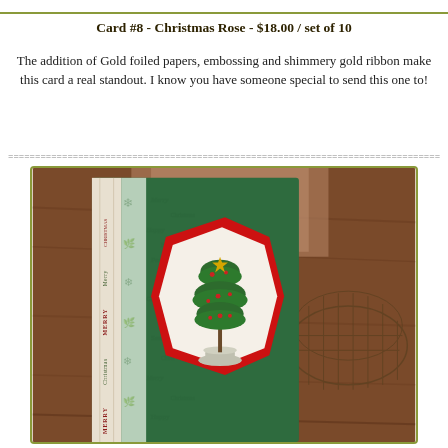Card #8 - Christmas Rose - $18.00 / set of 10
The addition of Gold foiled papers, embossing and shimmery gold ribbon make this card a real standout. I know you have someone special to send this one to!
[Figure (photo): A Christmas card featuring a green embossed card base with a red hexagonal die-cut frame containing a stamped Christmas tree topiary in an urn, with decorative ribbon strip on the left side. The card is photographed on a wooden surface with a wire basket in the background.]